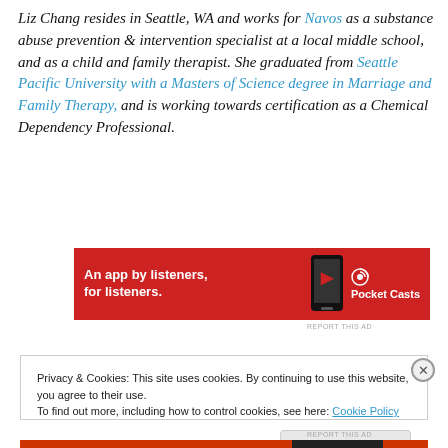Liz Chang resides in Seattle, WA and works for Navos as a substance abuse prevention & intervention specialist at a local middle school, and as a child and family therapist. She graduated from Seattle Pacific University with a Masters of Science degree in Marriage and Family Therapy, and is working towards certification as a Chemical Dependency Professional.
[Figure (other): Pocket Casts advertisement banner: red background with text 'An app by listeners, for listeners.' and Pocket Casts logo with phone graphic]
Privacy & Cookies: This site uses cookies. By continuing to use this website, you agree to their use.
To find out more, including how to control cookies, see here: Cookie Policy
Close and accept